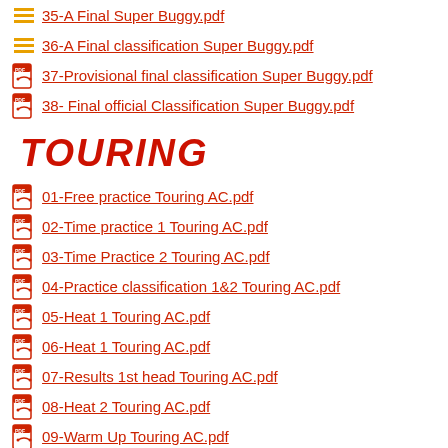35-A Final Super Buggy.pdf
36-A Final classification Super Buggy.pdf
37-Provisional final classification Super Buggy.pdf
38- Final official Classification Super Buggy.pdf
TOURING
01-Free practice Touring AC.pdf
02-Time practice 1 Touring AC.pdf
03-Time Practice 2 Touring AC.pdf
04-Practice classification 1&2 Touring AC.pdf
05-Heat 1 Touring AC.pdf
06-Heat 1 Touring AC.pdf
07-Results 1st head Touring AC.pdf
08-Heat 2 Touring AC.pdf
09-Warm Up Touring AC.pdf
10-Heat 2 Classification Touring AC.pdf
11-Results 2nd Heat Touring AC.pdf